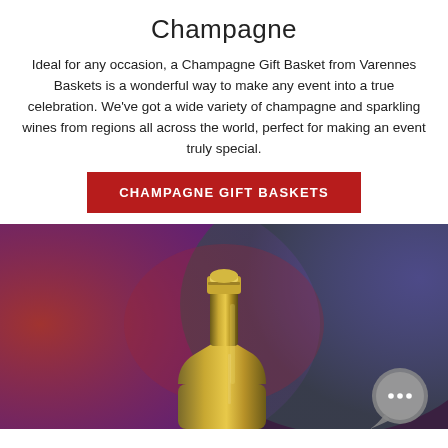Champagne
Ideal for any occasion, a Champagne Gift Basket from Varennes Baskets is a wonderful way to make any event into a true celebration. We've got a wide variety of champagne and sparkling wines from regions all across the world, perfect for making an event truly special.
CHAMPAGNE GIFT BASKETS
[Figure (photo): Close-up photo of a champagne bottle neck raised against a blurred red and blue bokeh background. A chat/messaging bubble icon appears in the bottom-right corner.]